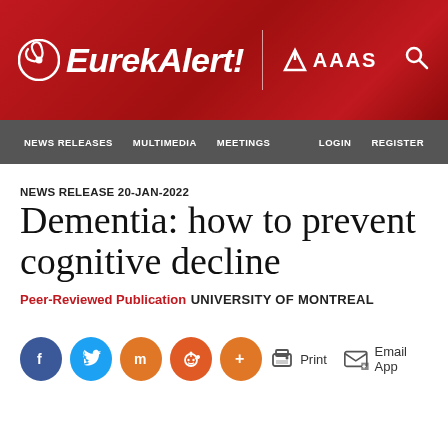[Figure (logo): EurekAlert! AAAS website header with red banner, EurekAlert logo, AAAS logo, and search icon]
NEWS RELEASES   MULTIMEDIA   MEETINGS   LOGIN   REGISTER
NEWS RELEASE 20-JAN-2022
Dementia: how to prevent cognitive decline
Peer-Reviewed Publication
UNIVERSITY OF MONTREAL
[Figure (infographic): Social sharing buttons: Facebook, Twitter, Mastodon, Reddit, More; and action buttons: Print, Email App]